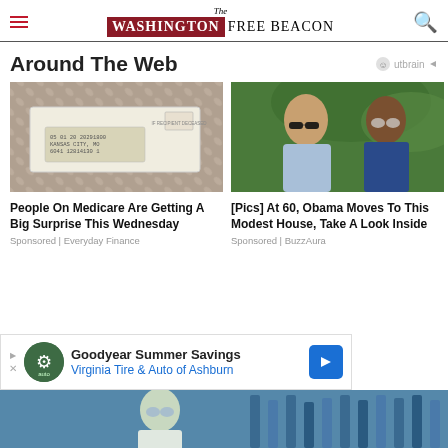The Washington Free Beacon
Around The Web
[Figure (photo): Envelope or check in a window envelope on a metallic surface]
People On Medicare Are Getting A Big Surprise This Wednesday
Sponsored | Everyday Finance
[Figure (photo): Barack Obama and Michelle Obama walking outdoors with greenery in background]
[Pics] At 60, Obama Moves To This Modest House, Take A Look Inside
Sponsored | BuzzAura
[Figure (photo): Advertisement banner: Goodyear Summer Savings - Virginia Tire & Auto of Ashburn]
[Figure (photo): Bottom strip showing a person in lab gear with blue background]